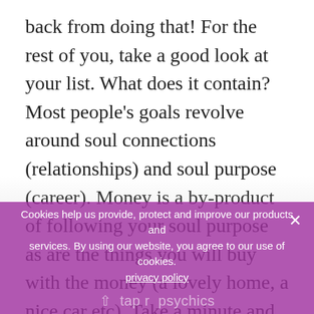back from doing that! For the rest of you, take a good look at your list. What does it contain? Most people's goals revolve around soul connections (relationships) and soul purpose (career). Money is a by-product of following your soul purpose as are the things you will buy with the money (a lovely home, a nice car etc). Take a minute and just sit with your goal list. What is the one that is 'pulling' you or igniting your passion right now? That is the one to start with
Cookies help us provide, protect and improve our products and services. By using our website, you agree to our use of cookies. privacy policy